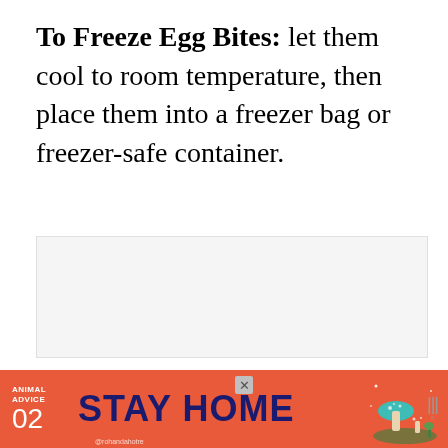To Freeze Egg Bites: let them cool to room temperature, then place them into a freezer bag or freezer-safe container.
[Figure (photo): Placeholder image area with light gray background]
[Figure (infographic): Advertisement banner: Animal Advice 02 STAY HOME @rohandahotre with colorful mushroom/nature illustration and weather icon on right]